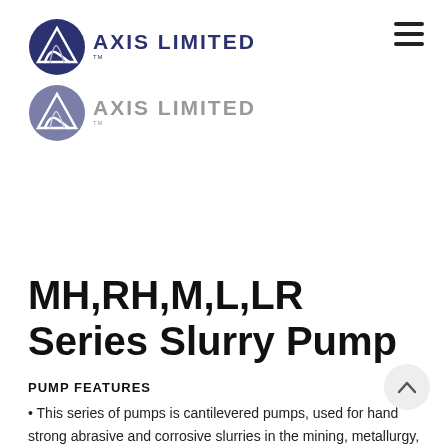[Figure (logo): GS Axis Limited logo — circular blue icon with wave/mountain graphic and text 'AXIS LIMITED' in bold dark blue, with TM mark]
[Figure (logo): GS Axis Limited logo — same circular icon in gray/muted blue tone with text 'AXIS LIMITED' in gray, with TM mark]
MH,RH,M,L,LR Series Slurry Pump
PUMP FEATURES
• This series of pumps is cantilevered pumps, used for handling strong abrasive and corrosive slurries in the mining, metallurgy, petrochemical, coal washery, power plant, dredging, building material